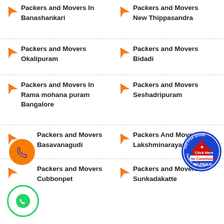Packers and Movers In Banashankari
Packers and Movers New Thippasandra
Packers and Movers Okalipuram
Packers and Movers Bidadi
Packers and Movers In Rama mohana puram Bangalore
Packers and Movers Seshadripuram
Packers and Movers Basavanagudi
Packers And Movers Lakshminarayanapura
Packers and Movers Cubbonpet
Packers and Movers Sunkadakatte